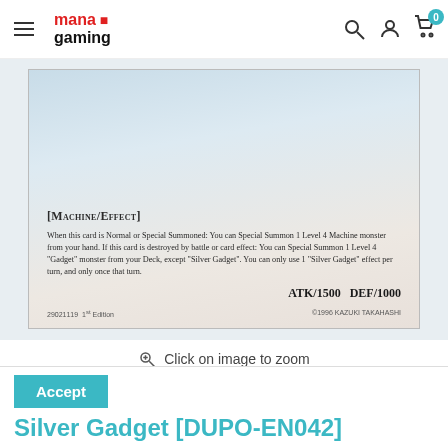mana gaming
[Figure (photo): Close-up of a Yu-Gi-Oh trading card (Silver Gadget) showing the card type [Machine/Effect], effect text, ATK/1500 DEF/1000 stats, and copyright information. Card bottom reads: 29021119 1st Edition ©1996 KAZUKI TAKAHASHI]
Click on image to zoom
[Figure (photo): Small thumbnail image of the Silver Gadget Yu-Gi-Oh card (DUPO-EN042), showing the full card art with a silver mechanical gadget creature on a blue background.]
Accept
Silver Gadget [DUPO-EN042]